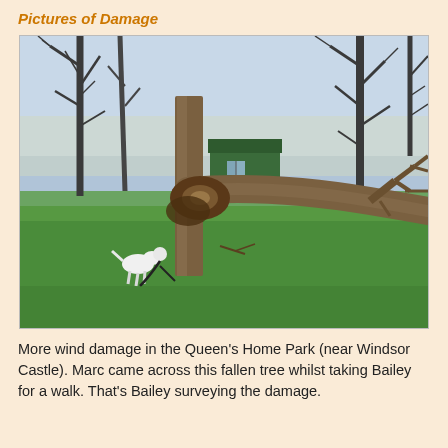Pictures of Damage
[Figure (photo): A fallen tree in a green park area. The large tree has snapped near its base and fallen to the right, with its broken root and trunk visible. There is a small green shed or building in the background, and bare-branched trees behind it. A white dog (Bailey) can be seen near the base of the fallen tree on the left side. The scene shows wind storm damage in a grassy park.]
More wind damage in the Queen's Home Park (near Windsor Castle). Marc came across this fallen tree whilst taking Bailey for a walk. That's Bailey surveying the damage.